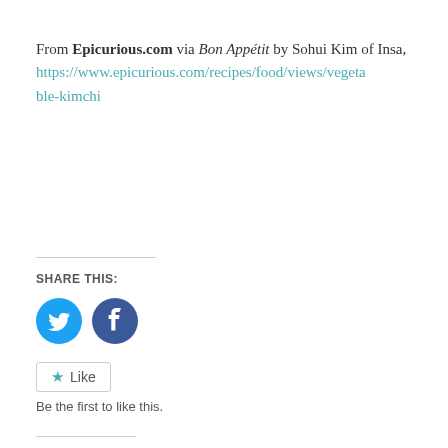From Epicurious.com via Bon Appétit by Sohui Kim of Insa, https://www.epicurious.com/recipes/food/views/vegetable-kimchi
SHARE THIS:
[Figure (infographic): Twitter bird icon (cyan circle with white bird) and Facebook icon (dark blue circle with white F), social sharing buttons]
[Figure (infographic): Like button with star icon]
Be the first to like this.
RELATED